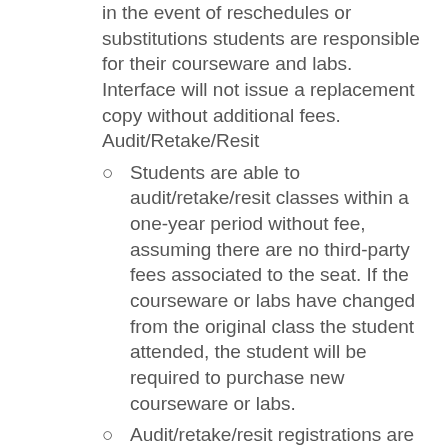in the event of reschedules or substitutions students are responsible for their courseware and labs. Interface will not issue a replacement copy without additional fees. Audit/Retake/Resit
Students are able to audit/retake/resit classes within a one-year period without fee, assuming there are no third-party fees associated to the seat. If the courseware or labs have changed from the original class the student attended, the student will be required to purchase new courseware or labs.
Audit/retake/resit registrations are on a space-available basis and is subject to cancellation if the seat is needed for a paying student. We understand your training is important and will try to accommodate you in this class. If your seat is needed, we will contact you to reschedule or audit...